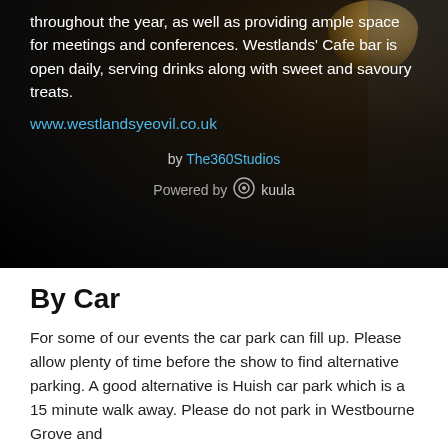[Figure (photo): Dark interior photo of Westlands venue showing a reception area with dark walls, glass doors, and a wooden table visible in the top-right corner. Overlaid with white text, a cyan hyperlink, a 'by The360Studios' credit, and a 'Powered by Kuula' badge.]
throughout the year, as well as providing ample space for meetings and conferences. Westlands' Cafe bar is open daily, serving drinks along with sweet and savoury treats.
www.westlandsyeovil.co.uk
by The360Studios
Powered by Kuula
By Car
For some of our events the car park can fill up. Please allow plenty of time before the show to find alternative parking. A good alternative is Huish car park which is a 15 minute walk away. Please do not park in Westbourne Grove and